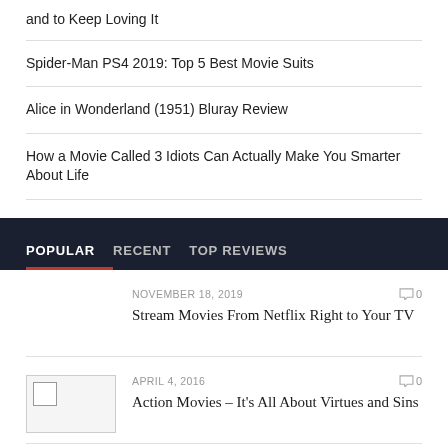and to Keep Loving It
Spider-Man PS4 2019: Top 5 Best Movie Suits
Alice in Wonderland (1951) Bluray Review
How a Movie Called 3 Idiots Can Actually Make You Smarter About Life
POPULAR   RECENT   TOP REVIEWS
NOVEMBER 18, 2019
0
Stream Movies From Netflix Right to Your TV
APRIL 4, 2016
0
Action Movies – It's All About Virtues and Sins